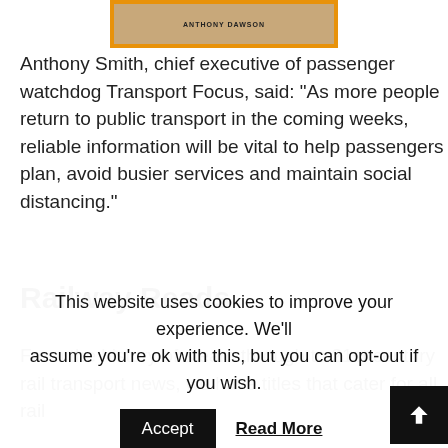[Figure (photo): Book cover image with orange border and author name ANTHONY DAWSON]
Anthony Smith, chief executive of passenger watchdog Transport Focus, said: “As more people return to public transport in the coming weeks, reliable information will be vital to help passengers plan, avoid busier services and maintain social distancing.”
Railway Reads
From the history of steam through to 21st century rail transport news, we have titles that cater for all rail
This website uses cookies to improve your experience. We’ll assume you’re ok with this, but you can opt-out if you wish.